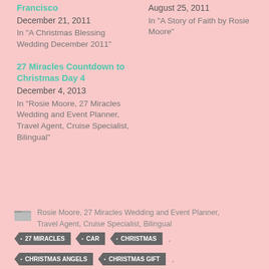Francisco
December 21, 2011
In "A Christmas Blessing Wedding December 2011"
August 25, 2011
In "A Story of Faith by Rosie Moore"
27 Miracles Countdown to Christmas Day 4
December 4, 2013
In "Rosie Moore, 27 Miracles Wedding and Event Planner, Travel Agent, Cruise Specialist, Bilingual"
Rosie Moore, 27 Miracles Wedding and Event Planner, Travel Agent, Cruise Specialist, Bilingual
• 27 MIRACLES
• CAR
• CHRISTMAS
• CHRISTMAS ANGELS
• CHRISTMAS GIFT